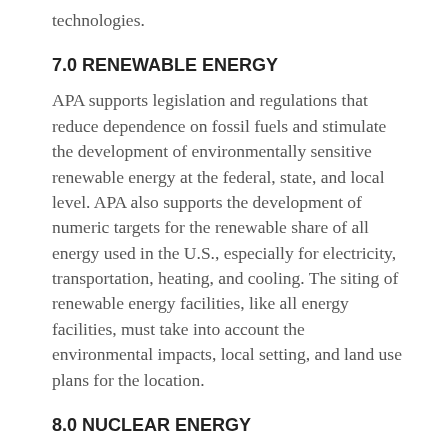technologies.
7.0 RENEWABLE ENERGY
APA supports legislation and regulations that reduce dependence on fossil fuels and stimulate the development of environmentally sensitive renewable energy at the federal, state, and local level. APA also supports the development of numeric targets for the renewable share of all energy used in the U.S., especially for electricity, transportation, heating, and cooling. The siting of renewable energy facilities, like all energy facilities, must take into account the environmental impacts, local setting, and land use plans for the location.
8.0 NUCLEAR ENERGY
APA supports continued investment in existing nuclear facilities and the development of new nuclear facilities as a part of the energy supply, preceded by